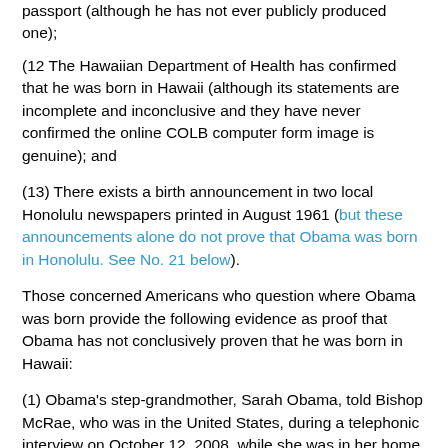passport (although he has not ever publicly produced one);
(12 The Hawaiian Department of Health has confirmed that he was born in Hawaii (although its statements are incomplete and inconclusive and they have never confirmed the online COLB computer form image is genuine); and
(13) There exists a birth announcement in two local Honolulu newspapers printed in August 1961 (but these announcements alone do not prove that Obama was born in Honolulu. See No. 21 below).
Those concerned Americans who question where Obama was born provide the following evidence as proof that Obama has not conclusively proven that he was born in Hawaii:
(1) Obama's step-grandmother, Sarah Obama, told Bishop McRae, who was in the United States, during a telephonic interview on October 12, 2008, while she was in her home located in Alego-Kogello, Kenya, that was full of security police and people and family who were celebrating then-